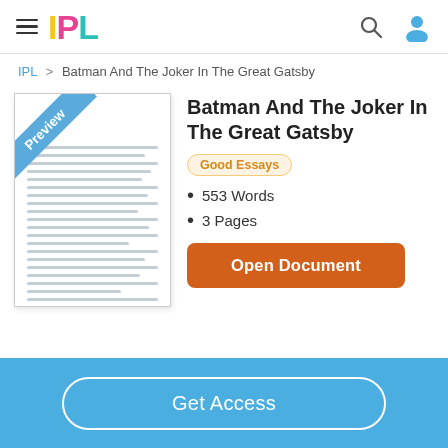IPL
IPL > Batman And The Joker In The Great Gatsby
[Figure (illustration): Document preview thumbnail with a diagonal 'Preview' banner in blue across the top-left corner, and horizontal lines representing text content.]
Batman And The Joker In The Great Gatsby
Good Essays
553 Words
3 Pages
Open Document
Get Access